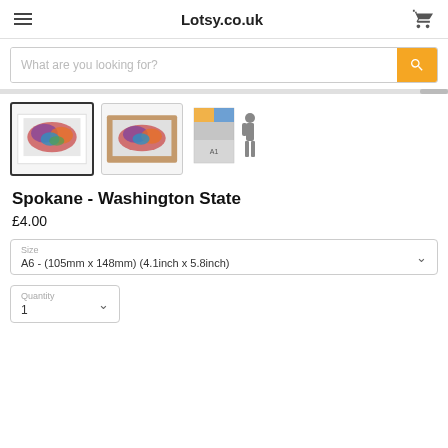Lotsy.co.uk
What are you looking for?
[Figure (screenshot): Three product thumbnail images of Spokane - Washington State art print: first showing print in white frame (selected/active), second showing print in wooden frame, third showing size comparison with human silhouette]
Spokane - Washington State
£4.00
Size
A6 - (105mm x 148mm) (4.1inch x 5.8inch)
Quantity
1